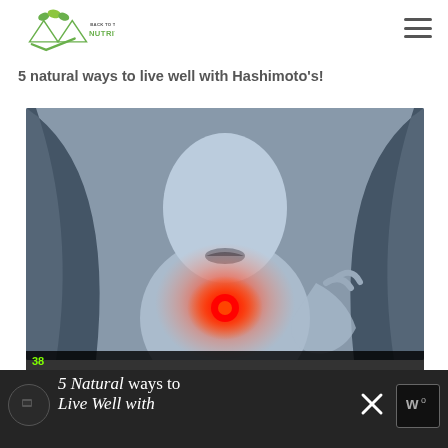Back to the Book Nutrition
Hashimoto's Thyroiditis symptoms, lab tests, and who should get tested! Plus...
5 natural ways to live well with Hashimoto's!
[Figure (photo): Woman with long dark hair touching her throat, with a red glowing circle highlighting the thyroid area on her neck, against a blue-gray background]
38
[Figure (screenshot): Video overlay panel at bottom showing italic text '5 Natural ways to Live Well with' in white on dark background, with close X button and Wordmark logo]